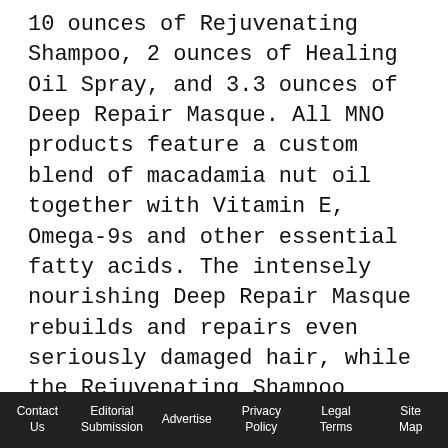10 ounces of Rejuvenating Shampoo, 2 ounces of Healing Oil Spray, and 3.3 ounces of Deep Repair Masque. All MNO products feature a custom blend of macadamia nut oil together with Vitamin E, Omega-9s and other essential fatty acids. The intensely nourishing Deep Repair Masque rebuilds and repairs even seriously damaged hair, while the Rejuvenating Shampoo infuses hair with moisture and protects from harmful UV rays, and the Healing Oil easily absorbs for smooth, shiny, manageable strands. Suggested Retail: $29.95 (over a $50 value!)

And to keep clients' holiday-hair ready all season? Send them home with the MNO 5-Piece Sample,
Contact Us | Editorial Submission | Advertise | Privacy Policy | Legal Terms | Site Map